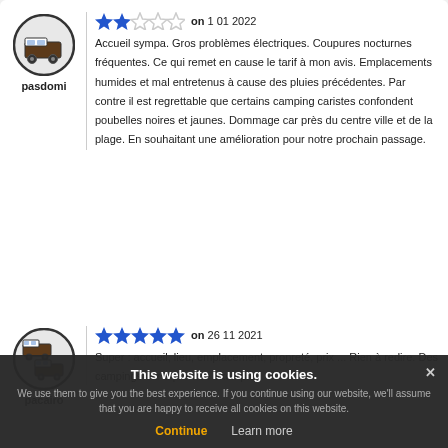[Figure (illustration): Circular avatar icon with motorhome/campervan silhouette for user pasdomi]
pasdomi
★★☆☆☆ on 1 01 2022
Accueil sympa. Gros problèmes électriques. Coupures nocturnes fréquentes. Ce qui remet en cause le tarif à mon avis. Emplacements humides et mal entretenus à cause des pluies précédentes. Par contre il est regrettable que certains camping caristes confondent poubelles noires et jaunes. Dommage car près du centre ville et de la plage. En souhaitant une amélioration pour notre prochain passage.
[Figure (illustration): Circular avatar icon with two motorhome/campervan silhouettes for user pacairo]
pacairo
★★★★★ on 26 11 2021
Super : accueil, lieu, emplacement, propreté, prix ... Rien à redire. Des campings car à prendre exemple.
This website is using cookies. We use them to give you the best experience. If you continue using our website, we'll assume that you are happy to receive all cookies on this website.